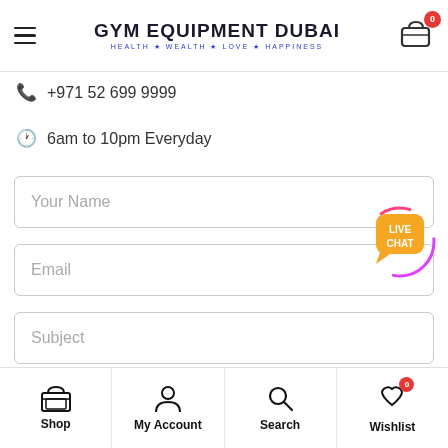GYM EQUIPMENT DUBAI — HEALTH ★ WEALTH ★ LOVE ★ HAPPINESS
+971 52 699 9999
6am to 10pm Everyday
[Figure (screenshot): Contact form with fields: Your Name, Email, Subject, and a message area below]
Shop | My Account | Search | Wishlist